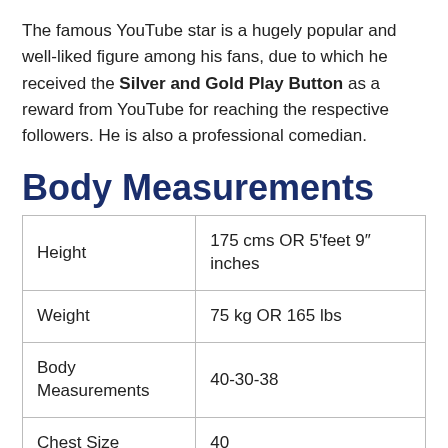The famous YouTube star is a hugely popular and well-liked figure among his fans, due to which he received the Silver and Gold Play Button as a reward from YouTube for reaching the respective followers. He is also a professional comedian.
Body Measurements
| Height | 175 cms OR 5'feet 9″ inches |
| Weight | 75 kg OR 165 lbs |
| Body Measurements | 40-30-38 |
| Chest Size | 40 |